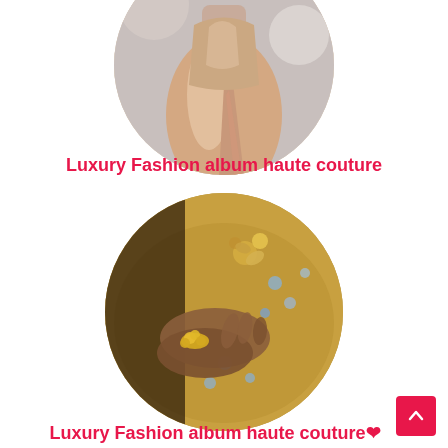[Figure (photo): Circular cropped photo of a model wearing a champagne/gold satin gown, showing torso and legs from a runway or studio setting]
Luxury Fashion album haute couture
[Figure (photo): Circular cropped close-up photo of hands touching an ornate gold embroidered and jeweled fabric with floral gold bracelet]
Luxury Fashion album haute couture❤